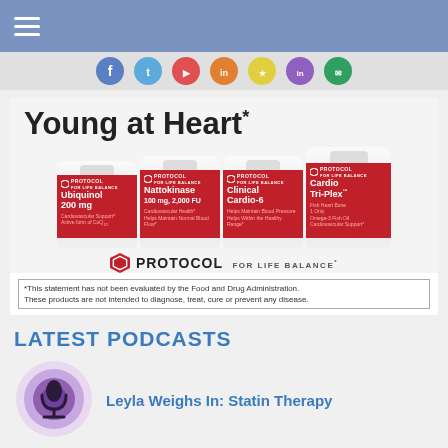Navigation bar with hamburger menu
[Figure (screenshot): Row of social media icons (colored circles)]
[Figure (illustration): Protocol for Life Balance advertisement featuring supplement bottles: Ubiquinol 200mg, Nattokinase 100mg 2000FU, Clinical Cardio-6, Cardio Tri-Plex. Headline: Young at Heart*. Brand: PROTOCOL FOR LIFE BALANCE*. Disclaimer: *This statement has not been evaluated by the Food and Drug Administration. These products are not intended to diagnose, treat, cure or prevent any disease.]
LATEST PODCASTS
[Figure (logo): Podcast microphone icon with purple concentric circles]
Leyla Weighs In: Statin Therapy